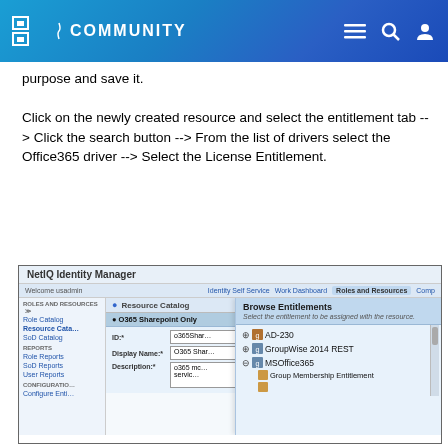MICRO FOCUS COMMUNITY
purpose and save it.
Click on the newly created resource and select the entitlement tab --> Click the search button --> From the list of drivers select the Office365 driver --> Select the License Entitlement.
[Figure (screenshot): Screenshot of NetIQ Identity Manager showing the Resource Catalog with a Browse Entitlements panel open, listing AD-230, GroupWise 2014 REST, MSOffice365 with sub-items Group Membership Entitlement.]